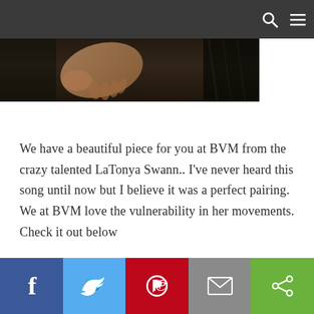[Figure (photo): Cropped photo of a woman in dark outfit against dark background, showing torso and hand area]
We have a beautiful piece for you at BVM from the crazy talented LaTonya Swann.. I've never heard this song until now but I believe it was a perfect pairing. We at BVM love the vulnerability in her movements. Check it out below
Social share bar with Facebook, Twitter, Pinterest, Email, and Share buttons